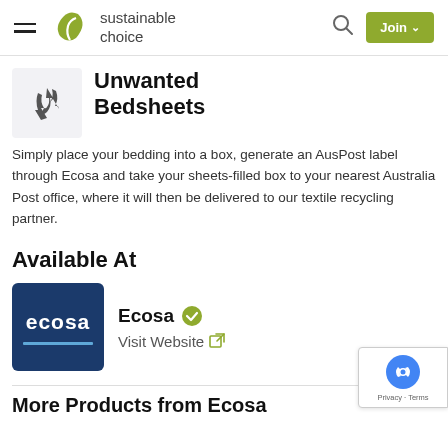sustainable choice — Join
Unwanted Bedsheets
Simply place your bedding into a box, generate an AusPost label through Ecosa and take your sheets-filled box to your nearest Australia Post office, where it will then be delivered to our textile recycling partner.
Available At
[Figure (logo): Ecosa company logo — white text 'ecosa' on dark navy blue background with blue underline]
Ecosa ✔ Visit Website
More Products from Ecosa